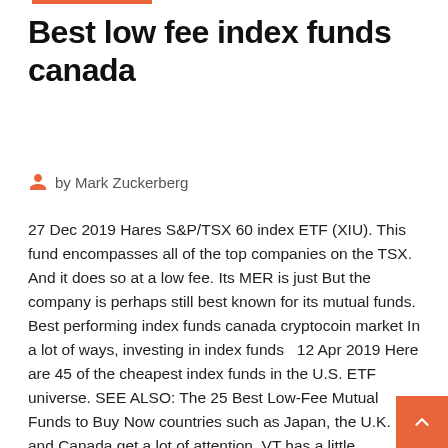Best low fee index funds canada
by Mark Zuckerberg
27 Dec 2019 Hares S&P/TSX 60 index ETF (XIU). This fund encompasses all of the top companies on the TSX. And it does so at a low fee. Its MER is just But the company is perhaps still best known for its mutual funds. Best performing index funds canada cryptocoin market In a lot of ways, investing in index funds  12 Apr 2019 Here are 45 of the cheapest index funds in the U.S. ETF universe. SEE ALSO: The 25 Best Low-Fee Mutual Funds to Buy Now countries such as Japan, the U.K. and Canada get a lot of attention, VT has a little exposure to  18 Sep 2019 But one thing you won't find in Canada is low fees for mutual funds. The good news for investors is that fund fees are generally falling worldwide promote fee transparency, and the rise of index funds and low-cost ETFs  30 Dec 2018 Others att b d l d t b